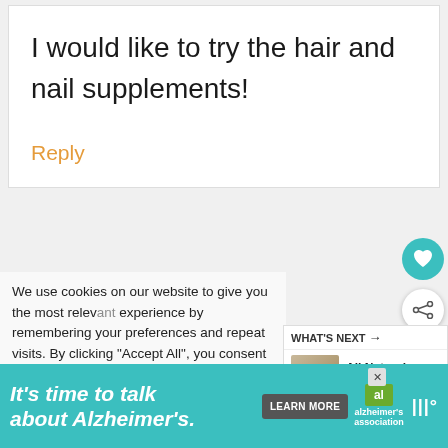I would like to try the hair and nail supplements!
Reply
We use cookies on our website to give you the most relevant experience by remembering your preferences and repeat visits. By clicking "Accept All", you consent to the use of all the cookies. However, you may visit "Cookie Settings" to provide a controlled consent.
WHAT'S NEXT → All Natural Crock Pot Ai...
It's time to talk about Alzheimer's.
LEARN MORE